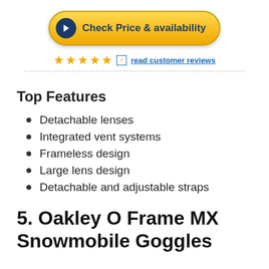[Figure (other): Yellow rounded button with dark blue play icon and text 'Check Price & availability']
[Figure (other): 5 orange/gold stars rating with checkbox icon and 'read customer reviews' link]
Top Features
Detachable lenses
Integrated vent systems
Frameless design
Large lens design
Detachable and adjustable straps
5. Oakley O Frame MX Snowmobile Goggles